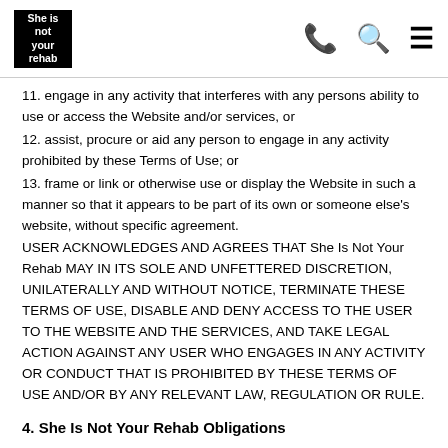She is not your rehab
11. engage in any activity that interferes with any persons ability to use or access the Website and/or services, or
12. assist, procure or aid any person to engage in any activity prohibited by these Terms of Use; or
13. frame or link or otherwise use or display the Website in such a manner so that it appears to be part of its own or someone else's website, without specific agreement.
USER ACKNOWLEDGES AND AGREES THAT She Is Not Your Rehab MAY IN ITS SOLE AND UNFETTERED DISCRETION, UNILATERALLY AND WITHOUT NOTICE, TERMINATE THESE TERMS OF USE, DISABLE AND DENY ACCESS TO THE USER TO THE WEBSITE AND THE SERVICES, AND TAKE LEGAL ACTION AGAINST ANY USER WHO ENGAGES IN ANY ACTIVITY OR CONDUCT THAT IS PROHIBITED BY THESE TERMS OF USE AND/OR BY ANY RELEVANT LAW, REGULATION OR RULE.
4. She Is Not Your Rehab Obligations
4.1 Access to and use of the Website and Services Subject to user complying with and discharging each of its obligations under